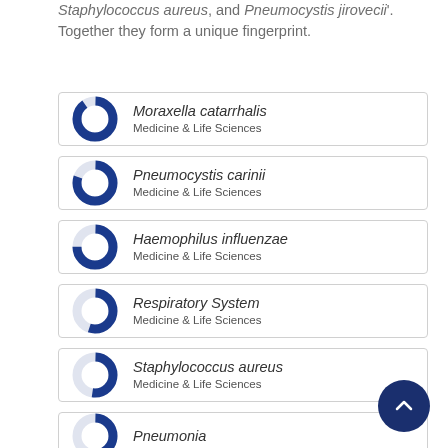Staphylococcus aureus, and Pneumocystis jirovecii'. Together they form a unique fingerprint.
[Figure (infographic): Fingerprint keyword item: Moraxella catarrhalis, Medicine & Life Sciences, with donut chart ~90% filled]
[Figure (infographic): Fingerprint keyword item: Pneumocystis carinii, Medicine & Life Sciences, with donut chart ~80% filled]
[Figure (infographic): Fingerprint keyword item: Haemophilus influenzae, Medicine & Life Sciences, with donut chart ~75% filled]
[Figure (infographic): Fingerprint keyword item: Respiratory System, Medicine & Life Sciences, with donut chart ~55% filled]
[Figure (infographic): Fingerprint keyword item: Staphylococcus aureus, Medicine & Life Sciences, with donut chart ~52% filled]
[Figure (infographic): Fingerprint keyword item: Pneumonia, partial view at bottom]